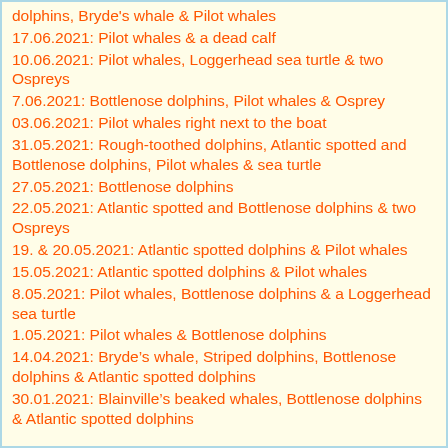dolphins, Bryde's whale & Pilot whales
17.06.2021: Pilot whales & a dead calf
10.06.2021: Pilot whales, Loggerhead sea turtle & two Ospreys
7.06.2021: Bottlenose dolphins, Pilot whales & Osprey
03.06.2021: Pilot whales right next to the boat
31.05.2021: Rough-toothed dolphins, Atlantic spotted and Bottlenose dolphins, Pilot whales & sea turtle
27.05.2021: Bottlenose dolphins
22.05.2021: Atlantic spotted and Bottlenose dolphins & two Ospreys
19. & 20.05.2021: Atlantic spotted dolphins & Pilot whales
15.05.2021: Atlantic spotted dolphins & Pilot whales
8.05.2021: Pilot whales, Bottlenose dolphins & a Loggerhead sea turtle
1.05.2021: Pilot whales & Bottlenose dolphins
14.04.2021: Bryde’s whale, Striped dolphins, Bottlenose dolphins & Atlantic spotted dolphins
30.01.2021: Blainville’s beaked whales, Bottlenose dolphins & Atlantic spotted dolphins